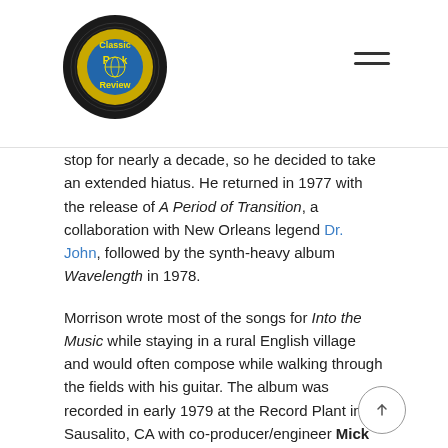Classic Rock Review
stop for nearly a decade, so he decided to take an extended hiatus. He returned in 1977 with the release of A Period of Transition, a collaboration with New Orleans legend Dr. John, followed by the synth-heavy album Wavelength in 1978.
Morrison wrote most of the songs for Into the Music while staying in a rural English village and would often compose while walking through the fields with his guitar. The album was recorded in early 1979 at the Record Plant in Sausalito, CA with co-producer/engineer Mick Glossop and released in the summer of that year.